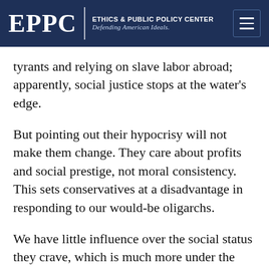EPPC | ETHICS & PUBLIC POLICY CENTER Defending American Ideals.
tyrants and relying on slave labor abroad; apparently, social justice stops at the water’s edge.
But pointing out their hypocrisy will not make them change. They care about profits and social prestige, not moral consistency. This sets conservatives at a disadvantage in responding to our would-be oligarchs.
We have little influence over the social status they crave, which is much more under the sway of people such as Greenhouse, who want them to be even more active in using oligarchic